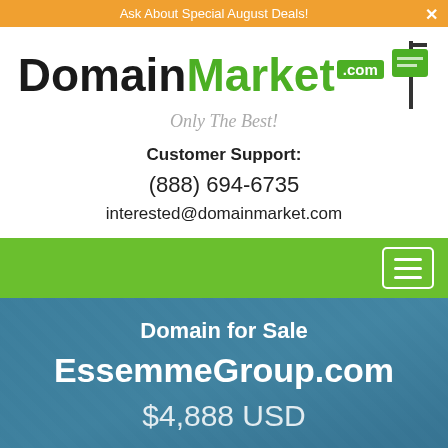Ask About Special August Deals!
[Figure (logo): DomainMarket.com logo with sign graphic and tagline 'Only The Best!']
Customer Support:
(888) 694-6735
interested@domainmarket.com
Domain for Sale
EssemmeGroup.com
$4,888 USD